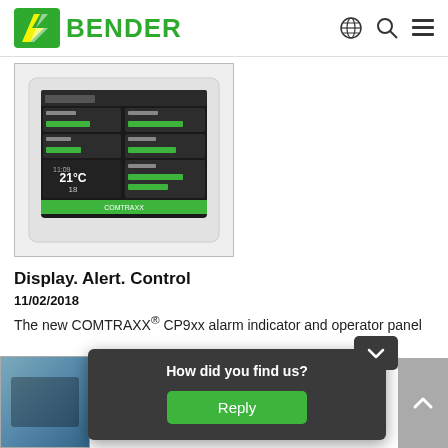[Figure (logo): Bender company logo with green lightning bolt icon and green BENDER text]
[Figure (photo): COMTRAXX CP9xx alarm indicator and operator panel device with touchscreen showing green status indicators, temperature 21C, and time display]
Display. Alert. Control
11/02/2018
The new COMTRAXX® CP9xx alarm indicator and operator panel
[Figure (screenshot): Popup overlay on webpage asking 'How did you find us?' with a green Reply button]
[Figure (photo): Partial thumbnail of another product image at bottom left]